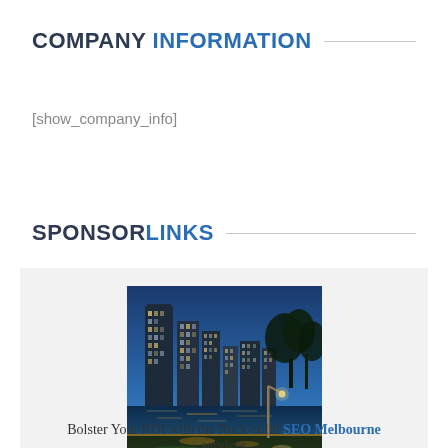COMPANY INFORMATION
[show_company_info]
SPONSORLINKS
[Figure (photo): City skyline at dusk/night with illuminated skyscrapers, a river with reflections, a lamp post, and trees in the foreground. Likely Melbourne, Australia.]
Bolster Your ROI with the Rock-solid SEO Melbourne services